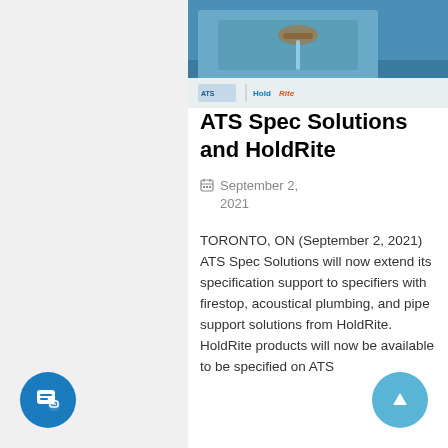[Figure (photo): ATS Spec Solutions and HoldRite banner image with logos on a blue/construction background]
ATS Spec Solutions and HoldRite
September 2, 2021
TORONTO, ON (September 2, 2021)     ATS Spec Solutions will now extend its specification support to specifiers with firestop, acoustical plumbing, and pipe support solutions from HoldRite.  HoldRite products will now be available to be specified on ATS